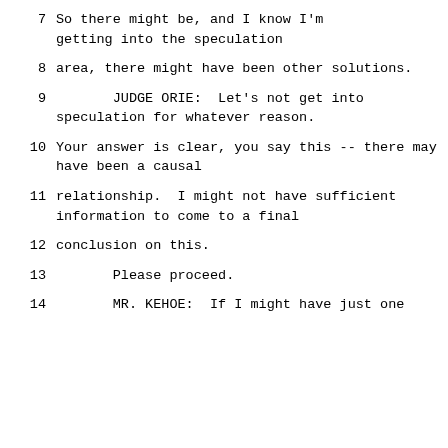7        So there might be, and I know I'm getting into the speculation
8     area, there might have been other solutions.
9             JUDGE ORIE:  Let's not get into speculation for whatever reason.
10     Your answer is clear, you say this -- there may have been a causal
11     relationship.  I might not have sufficient information to come to a final
12     conclusion on this.
13             Please proceed.
14             MR. KEHOE:  If I might have just one